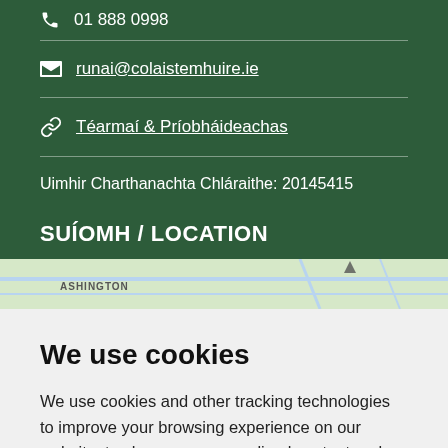01 888 0998
runai@colaistemhuire.ie
Téarmaí & Príobháideachas
Uimhir Charthanachta Chláraithe: 20145415
SUÍOMH / LOCATION
[Figure (map): Google Maps embed showing ASHINGTON area]
We use cookies
We use cookies and other tracking technologies to improve your browsing experience on our website, to show you personalized content and targeted ads, to analyze our website traffic, and to